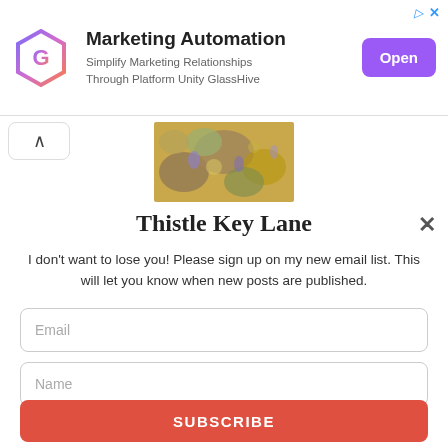[Figure (infographic): Advertisement banner for GlassHive Marketing Automation with hexagonal logo, text, and purple Open button]
Thistle Key Lane
I don't want to lose you! Please sign up on my new email list. This will let you know when new posts are published.
Email
Name
Opt in to receive news and updates.
SUBSCRIBE